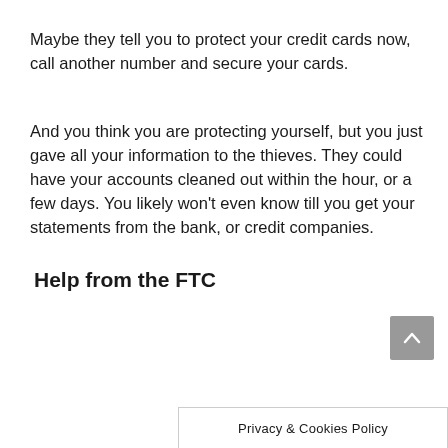Maybe they tell you to protect your credit cards now, call another number and secure your cards.
And you think you are protecting yourself, but you just gave all your information to the thieves. They could have your accounts cleaned out within the hour, or a few days. You likely won’t even know till you get your statements from the bank, or credit companies.
Help from the FTC
Privacy & Cookies Policy